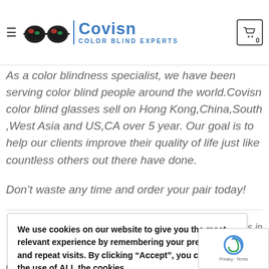Covisn COLOR BLIND EXPERTS
lowest price in the industry...
color blind people around the world.Covisn color blind glasses sell on Hong Kong,China,South ,West Asia and US,CA over 5 year. Our goal is to help our clients improve their quality of life just like countless others out there have done.
Don’t waste any time and order your pair today!
We use cookies on our website to give you the most relevant experience by remembering your preferences and repeat visits. By clicking “Accept”, you consent to the use of ALL the cookies.